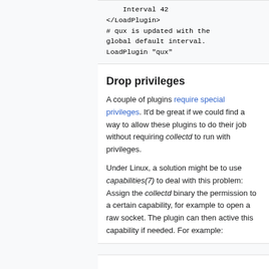Interval 42
</LoadPlugin>
# qux is updated with the
global default interval.
LoadPlugin "qux"
Drop privileges
A couple of plugins require special privileges. It'd be great if we could find a way to allow these plugins to do their job without requiring collectd to run with privileges.
Under Linux, a solution might be to use capabilities(7) to deal with this problem: Assign the collectd binary the permission to a certain capability, for example to open a raw socket. The plugin can then active this capability if needed. For example: